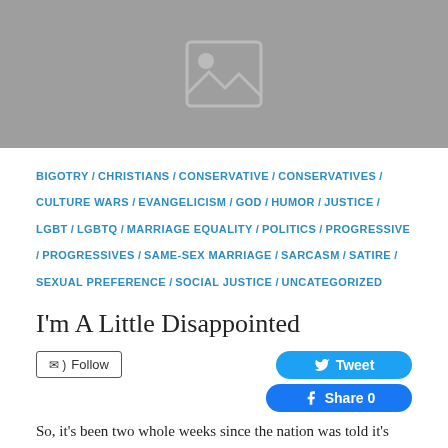[Figure (photo): Gray placeholder image with a mountain/landscape icon in the center]
BIGOTRY / CHRISTIANS / CONSERVATIVE / CONSERVATIVES / CULTURE WARS / EVANGELICISM / GOD / HUMOR / JUSTICE / LGBT / LGBTQ / MARRIAGE EQUALITY / POLITICS / PROGRESSIVE / PROGRESSIVES / SAME-SEX MARRIAGE / SARCASM / SATIRE / SEXUAL PREFERENCE / SOCIAL JUSTICE / UNCATEGORIZED
I'm A Little Disappointed
Follow | Tweet | Share 0
So, it's been two whole weeks since the nation was told it's facing a disaster of biblical proportions and what's happened? Nothing. Not a damn thing. No fire and brimstone coming down from ...